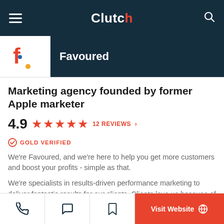Clutch
Favoured
Marketing agency founded by former Apple marketer
4.9  ★★★★★  12 REVIEWS
GOLD VERIFIED
We're Favoured, and we're here to help you get more customers and boost your profits - simple as that.
We're specialists in results-driven performance marketing to deliver fantastic results for our clients. Clients love us because of our proactive communication, our strategic approach to marketing, and our funky creativity!
Visit Website